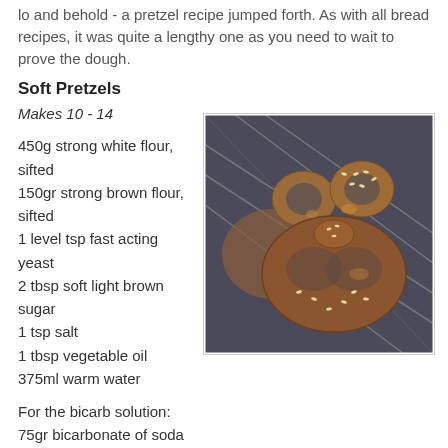lo and behold - a pretzel recipe jumped forth. As with all bread recipes, it was quite a lengthy one as you need to wait to prove the dough.
Soft Pretzels
Makes 10 - 14
450g strong white flour, sifted
150gr strong brown flour, sifted
1 level tsp fast acting yeast
2 tbsp soft light brown sugar
1 tsp salt
1 tbsp vegetable oil
375ml warm water
[Figure (photo): Photo of two golden-brown soft pretzels topped with sesame seeds on a wire cooling rack]
For the bicarb solution:
75gr bicarbonate of soda